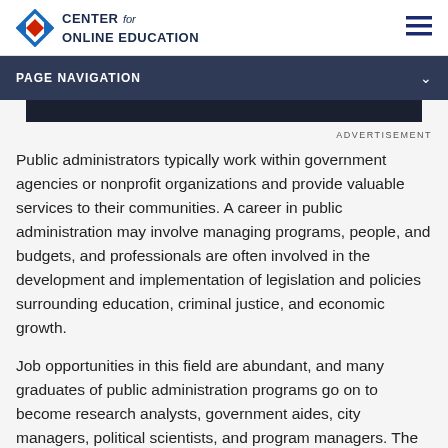[Figure (logo): Center for Online Education logo with diamond/arrow icon in blue and red, and text CENTER for ONLINE EDUCATION]
PAGE NAVIGATION
ADVERTISEMENT
Public administrators typically work within government agencies or nonprofit organizations and provide valuable services to their communities. A career in public administration may involve managing programs, people, and budgets, and professionals are often involved in the development and implementation of legislation and policies surrounding education, criminal justice, and economic growth.
Job opportunities in this field are abundant, and many graduates of public administration programs go on to become research analysts, government aides, city managers, political scientists, and program managers. The industry is expected to grow in coming years, and an increasing number